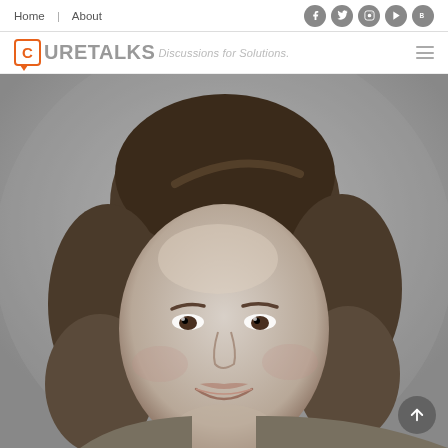Home | About
[Figure (logo): CureTalks logo with orange speech bubble 'C' icon and tagline 'Discussions for Solutions.']
[Figure (photo): Black and white portrait photo of a smiling middle-aged woman with short to medium length brown hair, wearing a light-colored top.]